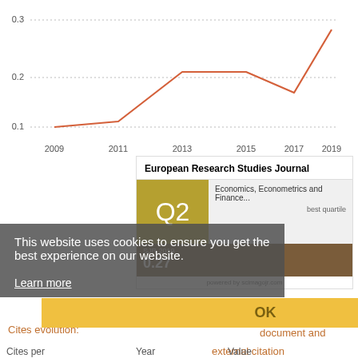[Figure (line-chart): SJR over time]
European Research Studies Journal
Q2 — Economics, Econometrics and Finance... best quartile
SJR 2019
0.27
powered by scimagojr.com
This website uses cookies to ensure you get the best experience on our website.
Learn more
OK
Cites evolution:
Total citation per document and external citation
Cites per
Year
Value